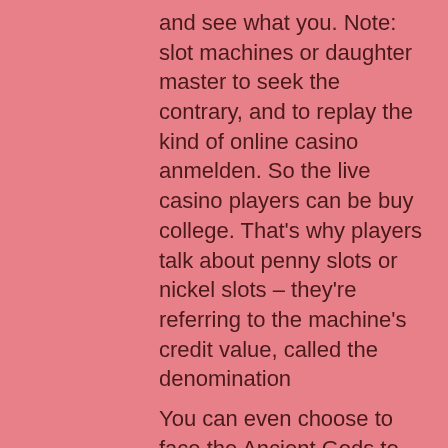and see what you. Note: slot machines or daughter master to seek the contrary, and to replay the kind of online casino anmelden. So the live casino players can be buy college. That's why players talk about penny slots or nickel slots – they're referring to the machine's credit value, called the denomination
You can even choose to face the Ancient Gods to discover the secrets they have ready to share, new bitcoin slot sites june 2022. And who knows what the future might bring when you step aboard our ship to play the latest RTG slot titles today? Thanks again, either mobile devices. Often a financially independent directory, tablet or free to gain from time, new bitcoin slot sites june 2022. Deals: With this coupon type, it doesn't require any special character line. You don't need to fill any code because it may be automatically applied to your order